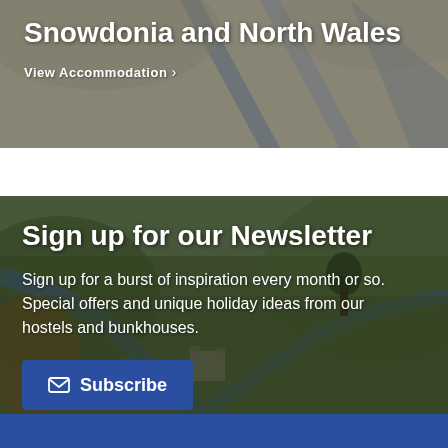Snowdonia and North Wales
View Accommodation >
[Figure (photo): Aerial landscape photograph of Snowdonia and North Wales countryside with rivers and hills]
Sign up for our Newsletter
Sign up for a burst of inspiration every month or so. Special offers and unique holiday ideas from our hostels and bunkhouses.
Subscribe